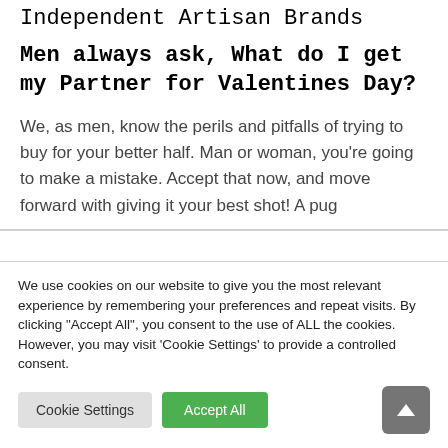Independent Artisan Brands
Men always ask, What do I get my Partner for Valentines Day?
We, as men, know the perils and pitfalls of trying to buy for your better half. Man or woman, you're going to make a mistake. Accept that now, and move forward with giving it your best shot! A pug
We use cookies on our website to give you the most relevant experience by remembering your preferences and repeat visits. By clicking "Accept All", you consent to the use of ALL the cookies. However, you may visit 'Cookie Settings' to provide a controlled consent.